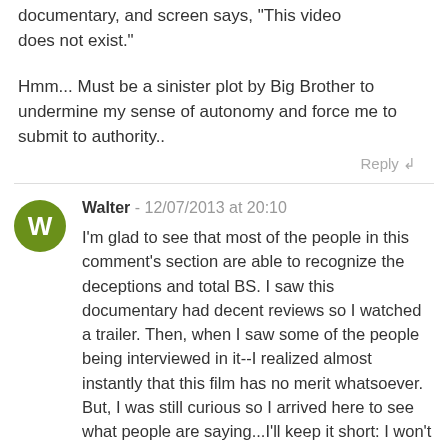documentary, and screen says, "This video does not exist."
Hmm... Must be a sinister plot by Big Brother to undermine my sense of autonomy and force me to submit to authority..
Reply ↲
Walter - 12/07/2013 at 20:10
I'm glad to see that most of the people in this comment's section are able to recognize the deceptions and total BS. I saw this documentary had decent reviews so I watched a trailer. Then, when I saw some of the people being interviewed in it--I realized almost instantly that this film has no merit whatsoever. But, I was still curious so I arrived here to see what people are saying...I'll keep it short: I won't be watching this film. Thanks!
Reply ↲